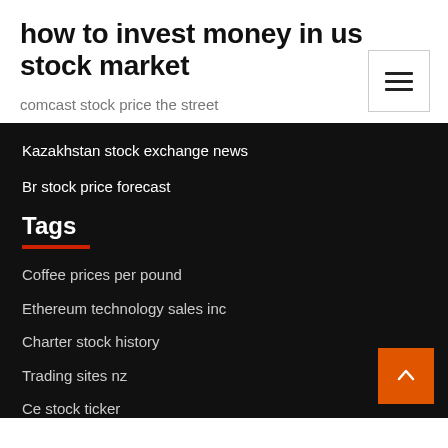how to invest money in us stock market
comcast stock price the street
Kazakhstan stock exchange news
Br stock price forecast
Tags
Coffee prices per pound
Ethereum technology sales inc
Charter stock history
Trading sites nz
Ce stock ticker